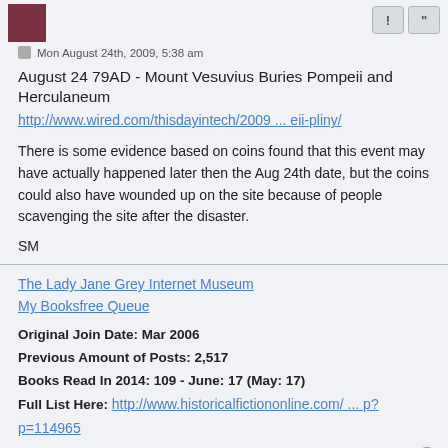[avatar and buttons top bar]
Mon August 24th, 2009, 5:38 am
August 24 79AD - Mount Vesuvius Buries Pompeii and Herculaneum
http://www.wired.com/thisdayintech/2009 ... eii-pliny/
There is some evidence based on coins found that this event may have actually happened later then the Aug 24th date, but the coins could also have wounded up on the site because of people scavenging the site after the disaster.
SM
The Lady Jane Grey Internet Museum
My Booksfree Queue
Original Join Date: Mar 2006
Previous Amount of Posts: 2,517
Books Read In 2014: 109 - June: 17 (May: 17)
Full List Here: http://www.historicalfictiononline.com/ ... p?p=114965
Susan
Bibliomaniac